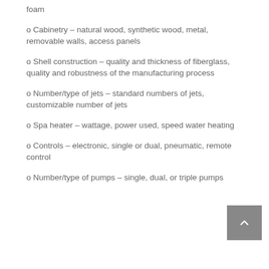foam
o Cabinetry – natural wood, synthetic wood, metal, removable walls, access panels
o Shell construction – quality and thickness of fiberglass, quality and robustness of the manufacturing process
o Number/type of jets – standard numbers of jets, customizable number of jets
o Spa heater – wattage, power used, speed water heating
o Controls – electronic, single or dual, pneumatic, remote control
o Number/type of pumps – single, dual, or triple pumps